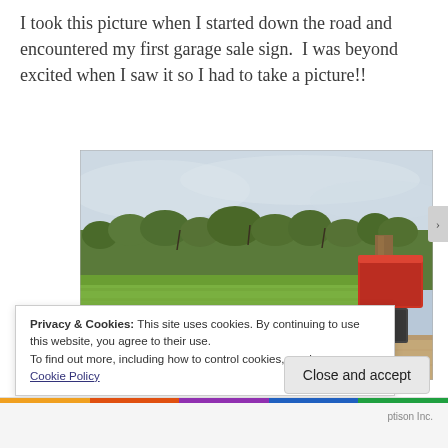I took this picture when I started down the road and encountered my first garage sale sign.  I was beyond excited when I saw it so I had to take a picture!!
[Figure (photo): Outdoor scene from inside a vehicle showing a rural dirt road with a green field, trees in the background, overcast sky, and part of a wooden post with a red garage sale sign visible on the right side.]
Privacy & Cookies: This site uses cookies. By continuing to use this website, you agree to their use.
To find out more, including how to control cookies, see here:
Cookie Policy
Close and accept